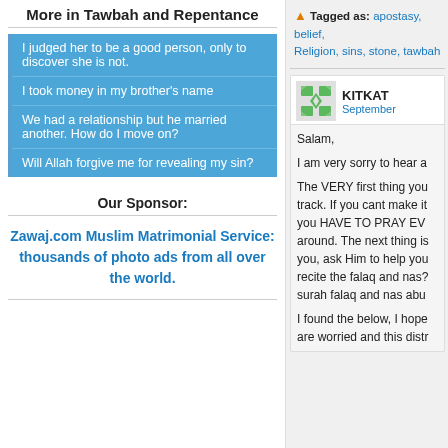More in Tawbah and Repentance
I judged her to be a good person, only to discover she is not.
I took money in my brother's name
We had a relationship but he married another. How do I move on?
Will Allah forgive me for revealing my sin?
Our Sponsor:
Zawaj.com Muslim Matrimonial Service: thousands of photo ads from all over the world.
Tagged as: apostasy, belief, Religion, sins, stone, tawbah
KITKAT
September
Salam,
I am very sorry to hear a
The VERY first thing you track. If you cant make it you HAVE TO PRAY EV around. The next thing is you, ask Him to help you recite the falaq and nas? surah falaq and nas abu
I found the below, I hope are worried and this distr